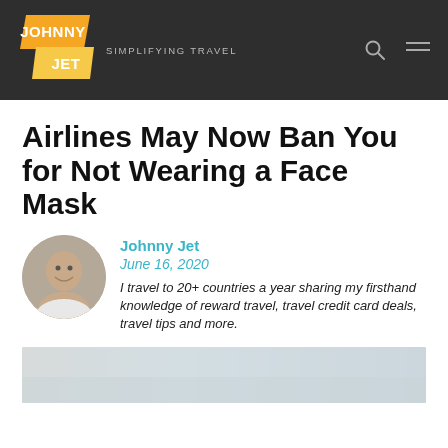JOHNNY JET — SIMPLIFYING TRAVEL
Airlines May Now Ban You for Not Wearing a Face Mask
Johnny Jet
June 16, 2020
I travel to 20+ countries a year sharing my firsthand knowledge of reward travel, travel credit card deals, travel tips and more.
[Figure (photo): Bottom portion of article page showing a blurred/faded background image]